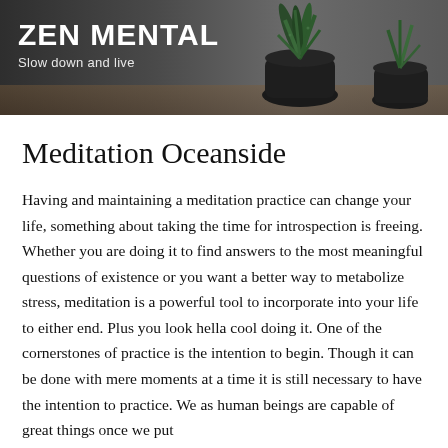[Figure (photo): Header banner with dark background showing potted plants (succulent/aloe in dark pots) on a wooden surface, with text overlay]
ZEN MENTAL
Slow down and live
Meditation Oceanside
Having and maintaining a meditation practice can change your life, something about taking the time for introspection is freeing. Whether you are doing it to find answers to the most meaningful questions of existence or you want a better way to metabolize stress, meditation is a powerful tool to incorporate into your life to either end. Plus you look hella cool doing it. One of the cornerstones of practice is the intention to begin. Though it can be done with mere moments at a time it is still necessary to have the intention to practice. We as human beings are capable of great things once we put